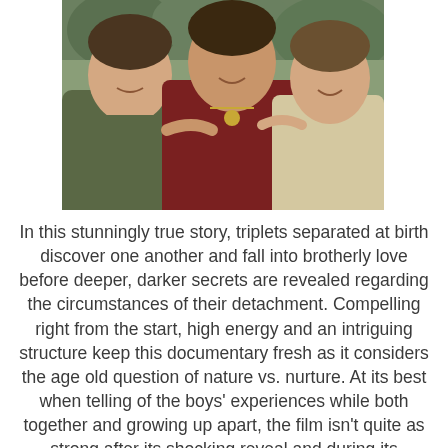[Figure (photo): Three young men posing together with arms around each other, smiling. The man on the left wears an olive/dark green shirt, the man in the middle wears a dark red/maroon top with a necklace, and the man on the right wears a light beige/cream sweater. Background shows greenery.]
In this stunningly true story, triplets separated at birth discover one another and fall into brotherly love before deeper, darker secrets are revealed regarding the circumstances of their detachment. Compelling right from the start, high energy and an intriguing structure keep this documentary fresh as it considers the age old question of nature vs. nurture. At its best when telling of the boys' experiences while both together and growing up apart, the film isn't quite as strong after its shocking reveal and during its subsequent exploration of why this all happened.